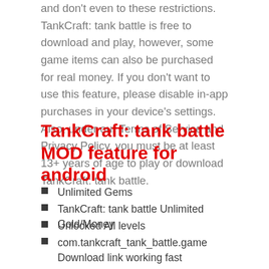and don't even to these restrictions. TankCraft: tank battle is free to download and play, however, some game items can also be purchased for real money. If you don't want to use this feature, please disable in-app purchases in your device's settings. Also, under our Terms of Service and Privacy Policy, you must be at least 13+ years of age to play or download TankCraft: tank battle.
TankCraft: tank battle MOD feature for android
Unlimited Gems
TankCraft: tank battle Unlimited Gold/Money
Unlocked All levels
com.tankcraft_tank_battle.game Download link working fast
TankCraft: tank battle Special Offer